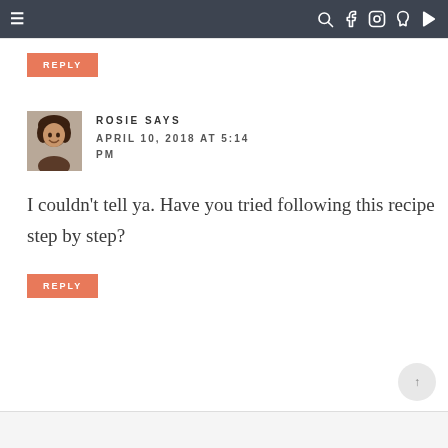≡  [search] [facebook] [instagram] [pinterest] [youtube]
REPLY
ROSIE SAYS
APRIL 10, 2018 AT 5:14 PM
I couldn't tell ya. Have you tried following this recipe step by step?
REPLY